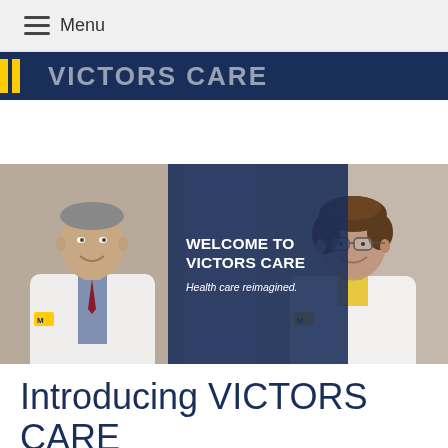Menu
[Figure (screenshot): University of Michigan / Victors Care partial logo bar in dark navy with yellow accent bars and large white text (partially cropped) reading VICTORS CARE]
[Figure (photo): Banner image with two physicians in white coats (male on left, female on right) flanking a dark navy center panel with WELCOME TO VICTORS CARE and tagline Health care reimagined.]
Introducing VICTORS CARE